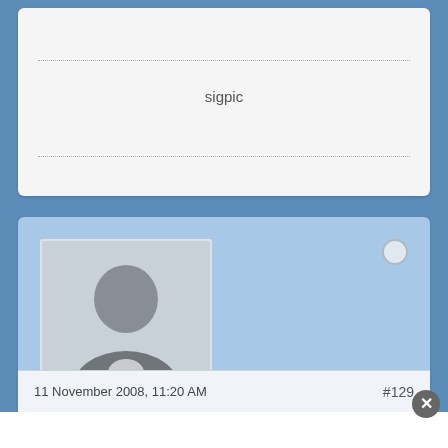[Figure (illustration): Signature picture placeholder area with dotted border lines and centered 'sigpic' text]
[Figure (photo): User profile card with avatar placeholder (silhouette), username Lady Vaako, rank Second Lieutenant, rank bar, member info, date and post number]
Lady Vaako
Second Lieutenant
Member Since: Jun 2007   Posts: 332
11 November 2008, 11:20 AM
#129